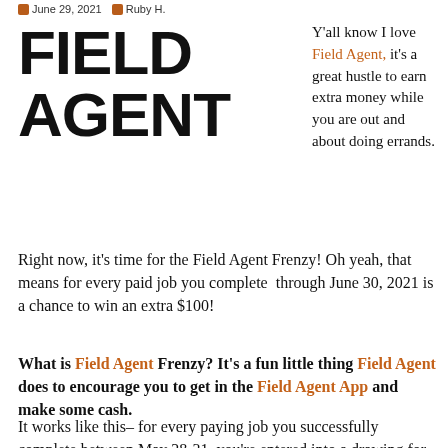June 29, 2021  Ruby H.
[Figure (logo): Field Agent logo in large bold black uppercase text]
Y'all know I love Field Agent, it's a great hustle to earn extra money while you are out and about doing errands.
Right now, it's time for the Field Agent Frenzy! Oh yeah, that means for every paid job you complete through June 30, 2021 is a chance to win an extra $100!
What is Field Agent Frenzy? It's a fun little thing Field Agent does to encourage you to get in the Field Agent App and make some cash.
It works like this– for every paying job you successfully complete between May 28-31, you're entered into a drawing for a bonus of